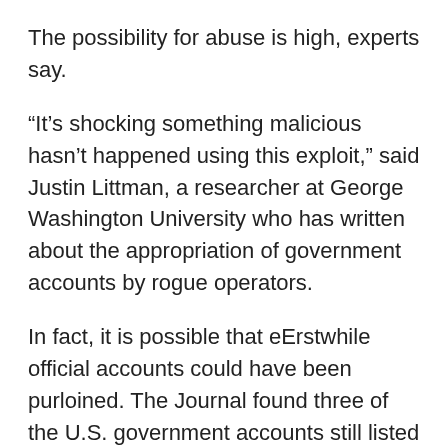The possibility for abuse is high, experts say.
“It’s shocking something malicious hasn’t happened using this exploit,” said Justin Littman, a researcher at George Washington University who has written about the appropriation of government accounts by rogue operators.
In fact, it is possible that eErstwhile official accounts could have been purloined. The Journal found three of the U.S. government accounts still listed on the registry last month were suspended by Twitter–a move that typically happens after the platform determines an account has violated its terms of service.